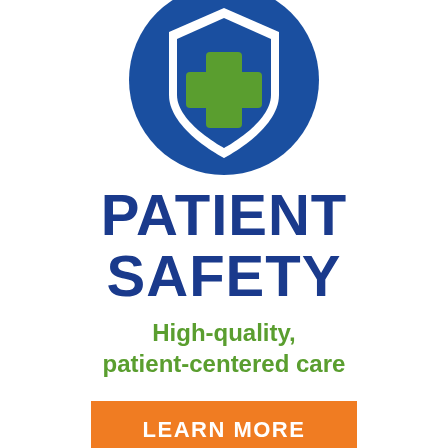[Figure (illustration): Blue circle containing a white-outlined shield with a green medical cross/plus sign inside, representing patient safety icon]
PATIENT SAFETY
High-quality, patient-centered care
LEARN MORE